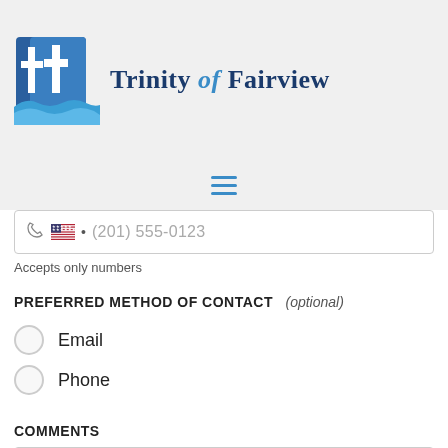[Figure (logo): Trinity of Fairview church logo with two white crosses on blue square background with blue wave design]
Trinity of Fairview
[Figure (other): Hamburger menu icon with three horizontal blue lines]
(201) 555-0123
Accepts only numbers
PREFERRED METHOD OF CONTACT   (optional)
Email
Phone
COMMENTS